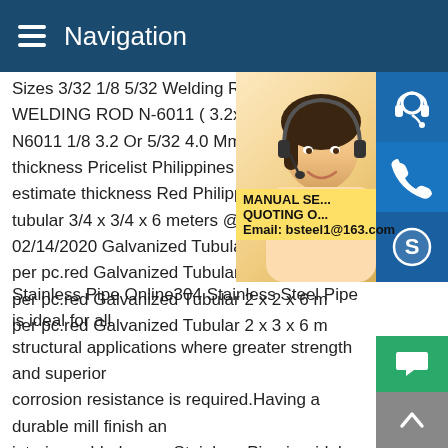Navigation
Sizes 3/32 1/8 5/32 Welding Rod Hyundai WELDING ROD N-6011 ( 3.2x350mm) 5k N6011 1/8 3.2 Or 5/32 4.0 Mm Price Per k thickness Pricelist Philippines - Pick Galva estimate thickness Red Philippines (medy tubular 3/4 x 3/4 x 6 meters @ UGE --- 23 02/14/2020 Galvanized Tubular 1 x 1 x 6 m per pc.red Galvanized Tubular 1 x 2 x 6 m per pc.red Galvanized Tubular 2 x 2 x 6 m per pc.red Galvanized Tubular 2 x 3 x 6 m Stainless Pipe Online304 Stainless Steel Pipe is ideal for all structural applications where greater strength and superior corrosion resistance is required.Having a durable mill finish and interior welded seam,Stainless Pipe is widely used for all types fabrication projects that are exposed to the elements - chemical,acidic,fresh water and salt water environments.
[Figure (photo): Photo of a smiling Asian woman wearing a headset, with blue contact icons overlaid on the right side and a yellow contact box with text: MANUAL SE... QUOTING O... Email: bsteel1@163.com]